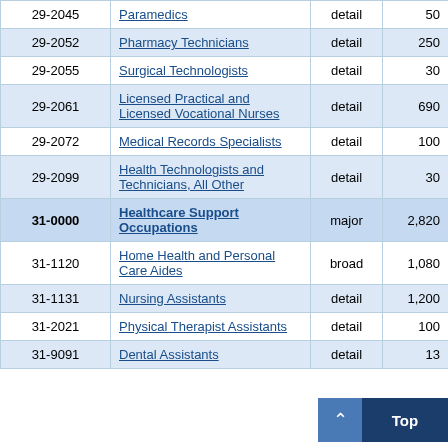| Code | Occupation | Level | Employment | (partial) |
| --- | --- | --- | --- | --- |
| 29-2045 | Paramedics | detail | 50 |  |
| 29-2052 | Pharmacy Technicians | detail | 250 | 5 |
| 29-2055 | Surgical Technologists | detail | 30 | 12 |
| 29-2061 | Licensed Practical and Licensed Vocational Nurses | detail | 690 | 8 |
| 29-2072 | Medical Records Specialists | detail | 100 | 13 |
| 29-2099 | Health Technologists and Technicians, All Other | detail | 30 | 22 |
| 31-0000 | Healthcare Support Occupations | major | 2,820 | 4 |
| 31-1120 | Home Health and Personal Care Aides | broad | 1,080 | 5 |
| 31-1131 | Nursing Assistants | detail | 1,200 | 9 |
| 31-2021 | Physical Therapist Assistants | detail | 100 | 6 |
| 31-9091 | Dental Assistants | detail | 13 |  |